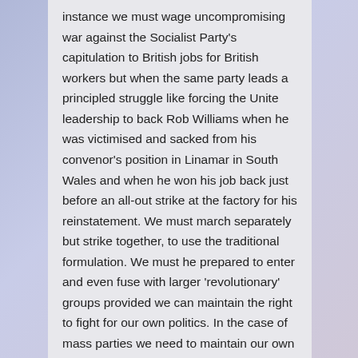instance we must wage uncompromising war against the Socialist Party's capitulation to British jobs for British workers but when the same party leads a principled struggle like forcing the Unite leadership to back Rob Williams when he was victimised and sacked from his convenor's position in Linamar in South Wales and when he won his job back just before an all-out strike at the factory for his reinstatement. We must march separately but strike together, to use the traditional formulation. We must he prepared to enter and even fuse with larger 'revolutionary' groups provided we can maintain the right to fight for our own politics. In the case of mass parties we need to maintain our own press and other means of propaganda.
Subjective revolutionaries and class fighters may exist in the main in the ranks of rival 'revolutionary' organisations, in their middle cadres and in some sections of their